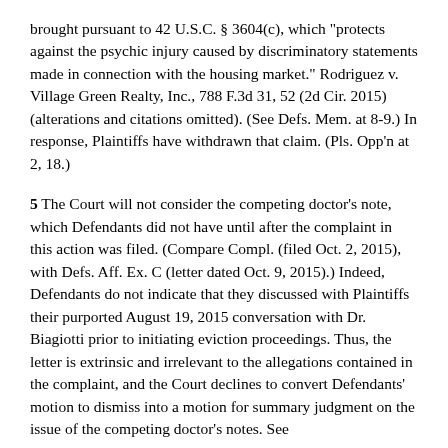brought pursuant to 42 U.S.C. § 3604(c), which "protects against the psychic injury caused by discriminatory statements made in connection with the housing market." Rodriguez v. Village Green Realty, Inc., 788 F.3d 31, 52 (2d Cir. 2015) (alterations and citations omitted). (See Defs. Mem. at 8-9.) In response, Plaintiffs have withdrawn that claim. (Pls. Opp'n at 2, 18.)
5 The Court will not consider the competing doctor's note, which Defendants did not have until after the complaint in this action was filed. (Compare Compl. (filed Oct. 2, 2015), with Defs. Aff. Ex. C (letter dated Oct. 9, 2015).) Indeed, Defendants do not indicate that they discussed with Plaintiffs their purported August 19, 2015 conversation with Dr. Biagiotti prior to initiating eviction proceedings. Thus, the letter is extrinsic and irrelevant to the allegations contained in the complaint, and the Court declines to convert Defendants' motion to dismiss into a motion for summary judgment on the issue of the competing doctor's notes. See